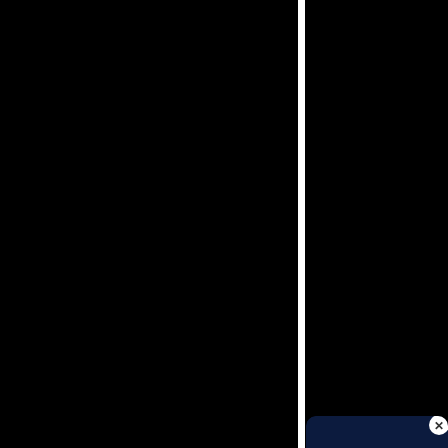[Figure (screenshot): Black background representing a video streaming website (Movies123), with a white vertical divider roughly one-third from the right side, and black content panels.]
Maraude
[Figure (other): Green HD badge label]
[Figure (infographic): Popup advertisement overlay with dark navy background. Title: 'ULTIMATE OFFER!' in large cyan/teal bold text. Body text: 'Protect yourself while surfing online and get Movies123 Premium Membership, for the same time period, for FREE!' with 'Premium Membership' and 'FREE!' highlighted in cyan. A close button (X) in white circle at top right. Illustration of a hooded hacker figure at a laptop surrounded by teal shield icons.]